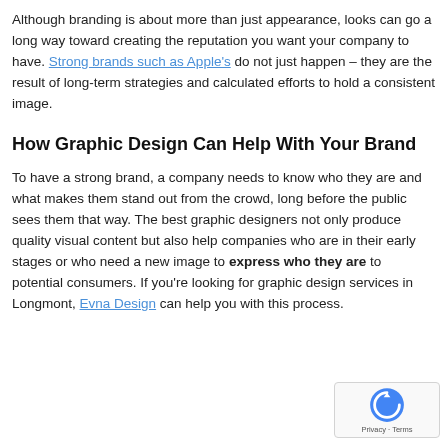Although branding is about more than just appearance, looks can go a long way toward creating the reputation you want your company to have. Strong brands such as Apple's do not just happen – they are the result of long-term strategies and calculated efforts to hold a consistent image.
How Graphic Design Can Help With Your Brand
To have a strong brand, a company needs to know who they are and what makes them stand out from the crowd, long before the public sees them that way. The best graphic designers not only produce quality visual content but also help companies who are in their early stages or who need a new image to express who they are to potential consumers. If you're looking for graphic design services in Longmont, Evna Design can help you with this process.